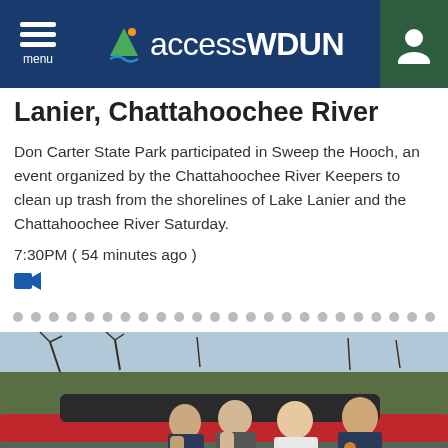accessWDUN
Lanier, Chattahoochee River
Don Carter State Park participated in Sweep the Hooch, an event organized by the Chattahoochee River Keepers to clean up trash from the shorelines of Lake Lanier and the Chattahoochee River Saturday.
7:30PM ( 54 minutes ago )
[Figure (photo): Several uniformed officers leaning over a red car hood, outdoors with trees in background]